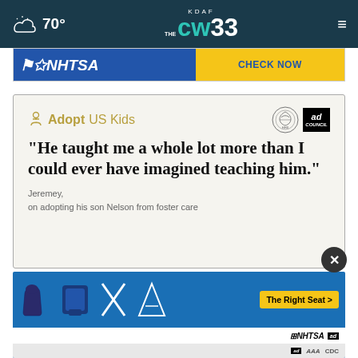70° KDAF CW 33
[Figure (screenshot): NHTSA yellow/blue advertisement banner — partial, showing NHTSA logo and CHECK NOW button]
[Figure (screenshot): Adopt US Kids advertisement card on light beige background. Quote text: "He taught me a whole lot more than I could ever have imagined teaching him." Attribution: Jeremey, on adopting his son Nelson from foster care. Logos: Adopt US Kids, HHS, Ad Council.]
[Figure (screenshot): NHTSA car seat safety advertisement banner at bottom — blue background with car seat icons and 'The Right Seat >' yellow button and NHTSA logo]